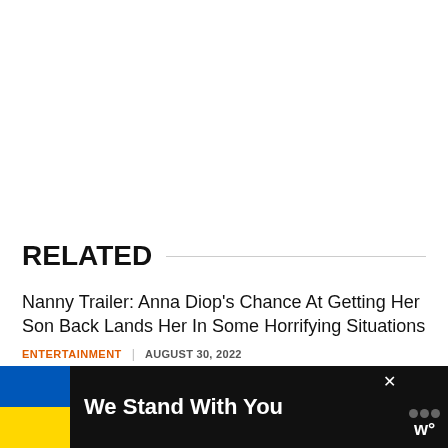RELATED
Nanny Trailer: Anna Diop's Chance At Getting Her Son Back Lands Her In Some Horrifying Situations
ENTERTAINMENT   AUGUST 30, 2022
The Lord of the Rings The Rings of Power: When and Where Will the First Episode Air?
[Figure (other): Banner overlay: Ukrainian flag colors (blue and yellow) with text 'We Stand With You' on dark background, with a close button and a logo on the right.]